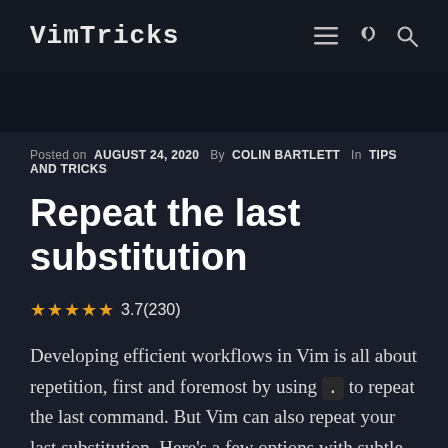VimTricks
Posted on AUGUST 24, 2020  By COLIN BARTLETT  In TIPS AND TRICKS
Repeat the last substitution
★★★★★ 3.7(230)
Developing efficient workflows in Vim is all about repetition, first and foremost by using . to repeat the last command. But Vim can also repeat your last substitution. Here's a few options with subtle